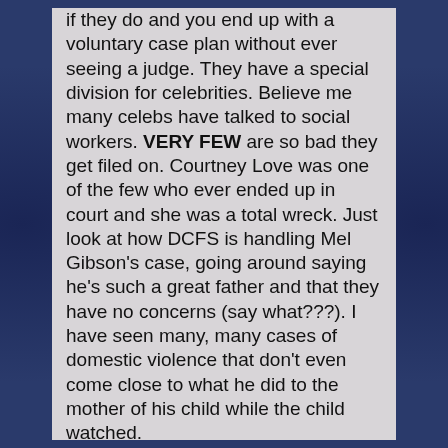if they do and you end up with a voluntary case plan without ever seeing a judge. They have a special division for celebrities. Believe me many celebs have talked to social workers. VERY FEW are so bad they get filed on. Courtney Love was one of the few who ever ended up in court and she was a total wreck. Just look at how DCFS is handling Mel Gibson's case, going around saying he's such a great father and that they have no concerns (say what???). I have seen many, many cases of domestic violence that don't even come close to what he did to the mother of his child while the child watched.
There is nothing Kate is doing I see that would warrant a judge to get involved. At the most, social workers might come out and give her a few parenting tips.
That said I firmly believe most kids are worse off in foster care than being with abusive parents. Absent severe physical abuse and sex abuse, foster care and removal from their parents is what destroys